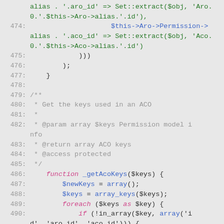[Figure (screenshot): Source code viewer showing PHP code lines 474-497, syntax highlighted with line numbers in gray, keywords in pink/red italic, variables and functions in blue, strings in green, comments in gray, on a light gray background.]